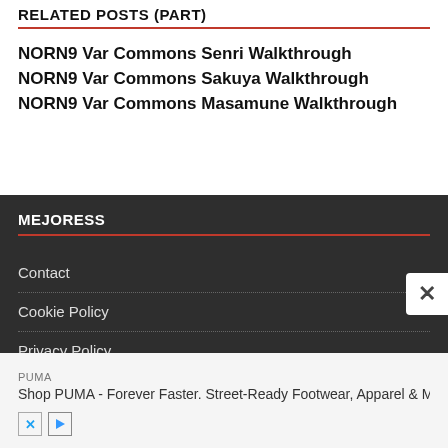RELATED POSTS (PART)
NORN9 Var Commons Senri Walkthrough
NORN9 Var Commons Sakuya Walkthrough
NORN9 Var Commons Masamune Walkthrough
MEJORESS
Contact
Cookie Policy
Privacy Policy
PUMA
Shop PUMA - Forever Faster. Street-Ready Footwear, Apparel & More In